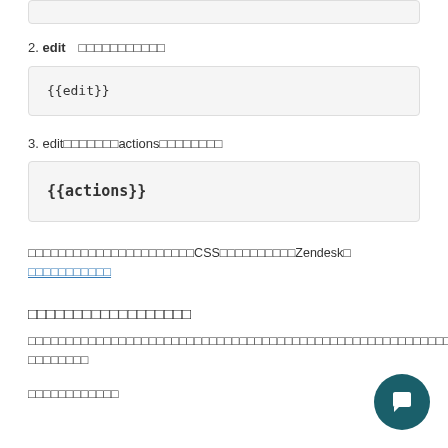2. edit（ここに文字が入ります）
{{edit}}
3. edit（ここに文字が入ります）actions（ここに文字が入ります）
{{actions}}
ここに文字が入ります（ここに文字が入ります）CSS（ここに文字が入ります）Zendesk（ここに文字が入ります）（ここに文字が入ります、リンク）
ここに文字が入ります（見出し）
ここに文字が入ります（ここに文字が入ります）ここに文字が入ります
ここに文字が入ります